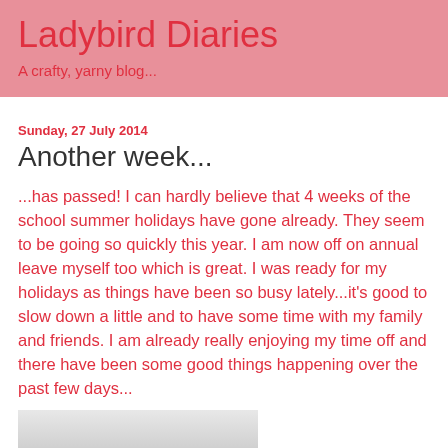Ladybird Diaries
A crafty, yarny blog...
Sunday, 27 July 2014
Another week...
...has passed! I can hardly believe that 4 weeks of the school summer holidays have gone already. They seem to be going so quickly this year. I am now off on annual leave myself too which is great. I was ready for my holidays as things have been so busy lately...it's good to slow down a little and to have some time with my family and friends. I am already really enjoying my time off and there have been some good things happening over the past few days...
[Figure (photo): Partial photo visible at the bottom of the page, showing what appears to be a light-colored surface]